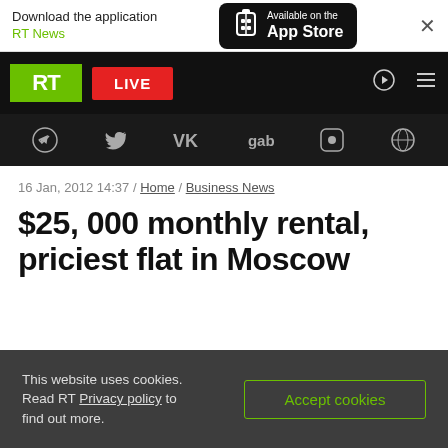[Figure (screenshot): App Store download banner with RT News label and App Store button]
RT navigation bar with RT logo, LIVE button, search and menu icons
[Figure (infographic): Social media icons bar: Telegram, Twitter, VK, gab, Rumble, Odysee]
16 Jan, 2012 14:37 / Home / Business News
$25, 000 monthly rental, priciest flat in Moscow
This website uses cookies. Read RT Privacy policy to find out more.
Accept cookies